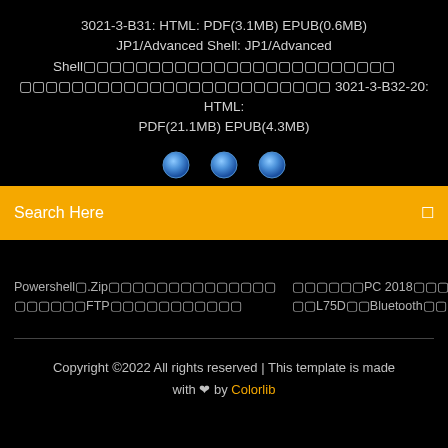3021-3-B31: HTML: PDF(3.1MB) EPUB(0.6MB) JP1/Advanced Shell: JP1/Advanced Shell                                                                  3021-3-B32-20: HTML: PDF(21.1MB) EPUB(4.3MB)
[Figure (illustration): Three blue circular dots/buttons in a row]
Search Here
Powershell�.Zip�������������� ������PC 2018���������� ������FTP����������� ��L75D��Bluetooth���������������
Copyright ©2022 All rights reserved | This template is made with � by Colorlib